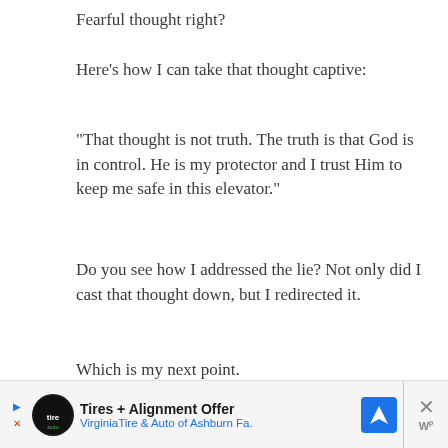Fearful thought right?
Here’s how I can take that thought captive:
“That thought is not truth. The truth is that God is in control. He is my protector and I trust Him to keep me safe in this elevator.”
Do you see how I addressed the lie? Not only did I cast that thought down, but I redirected it.
Which is my next point.
[Figure (infographic): Advertisement banner: Tires + Alignment Offer from Virginia Tire & Auto of Ashburn Fa. with navigation icon and close button.]